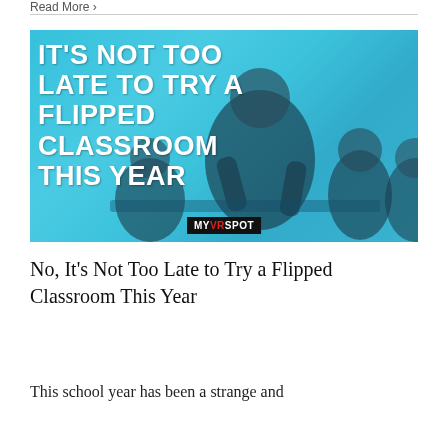Read More >
[Figure (photo): A teacher leaning over a table with students, overlaid with a cyan/blue tint and bold white text: 'IT'S NOT TOO LATE TO TRY A FLIPPED CLASSROOM THIS YEAR'. MyVRSpot logo badge at bottom center.]
No, It's Not Too Late to Try a Flipped Classroom This Year
This school year has been a strange and